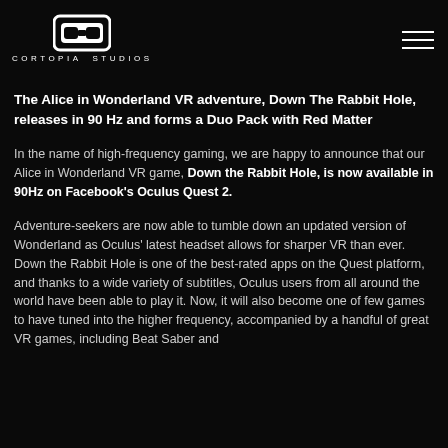[Figure (logo): Cortopia Studios logo — white VR headset icon above text CORTOPIA STUDIOS in spaced capitals]
The Alice in Wonderland VR adventure, Down The Rabbit Hole,  releases in 90 Hz and forms a Duo Pack with Red Matter
In the name of high-frequency gaming, we are happy to announce that our Alice in Wonderland VR game, Down the Rabbit Hole, is now available in 90Hz on Facebook's Oculus Quest 2.
Adventure-seekers are now able to tumble down an updated version of Wonderland as Oculus' latest headset allows for sharper VR than ever. Down the Rabbit Hole is one of the best-rated apps on the Quest platform, and thanks to a wide variety of subtitles, Oculus users from all around the world have been able to play it. Now, it will also become one of few games to have tuned into the higher frequency, accompanied by a handful of great VR games, including Beat Saber and